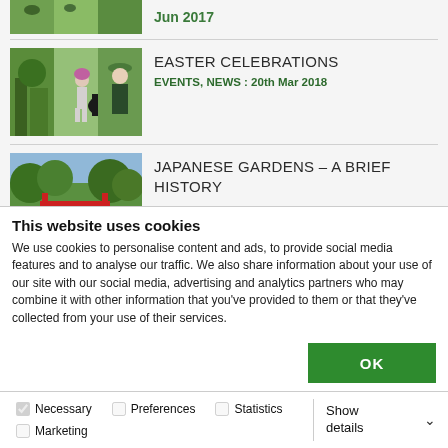[Figure (photo): Partial top row showing a green nature/horse image thumbnail and date text partially visible]
Jun 2017
[Figure (photo): Three thumbnail images of Easter event: girl with horse, pony, person in hat]
EASTER CELEBRATIONS
EVENTS, NEWS : 20th Mar 2018
[Figure (photo): Thumbnail image of Japanese gardens with red bridge and green trees]
JAPANESE GARDENS – A BRIEF HISTORY
This website uses cookies
We use cookies to personalise content and ads, to provide social media features and to analyse our traffic. We also share information about your use of our site with our social media, advertising and analytics partners who may combine it with other information that you've provided to them or that they've collected from your use of their services.
OK
Necessary  Preferences  Statistics  Marketing  Show details